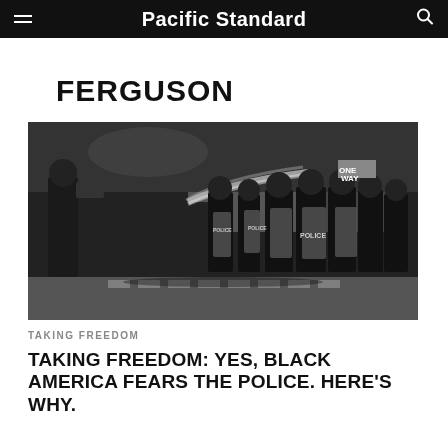Pacific Standard
FERGUSON
[Figure (photo): Black and white photograph of riot police in full gear with shields marked POLICE spraying crowd control agents at a street protest, with a cameraman on the left filming the confrontation.]
TAKING FREEDOM
TAKING FREEDOM: YES, BLACK AMERICA FEARS THE POLICE. HERE'S WHY.